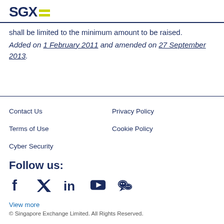SGX
shall be limited to the minimum amount to be raised.
Added on 1 February 2011 and amended on 27 September 2013.
Contact Us | Privacy Policy | Terms of Use | Cookie Policy | Cyber Security
Follow us:
[Figure (other): Social media icons: Facebook, Twitter, LinkedIn, YouTube, WeChat]
View more
© Singapore Exchange Limited. All Rights Reserved.